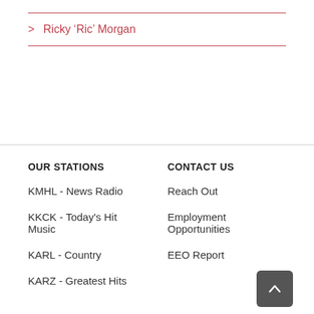> Ricky 'Ric' Morgan
OUR STATIONS
CONTACT US
KMHL - News Radio
Reach Out
KKCK - Today's Hit Music
Employment Opportunities
KARL - Country
EEO Report
KARZ - Greatest Hits